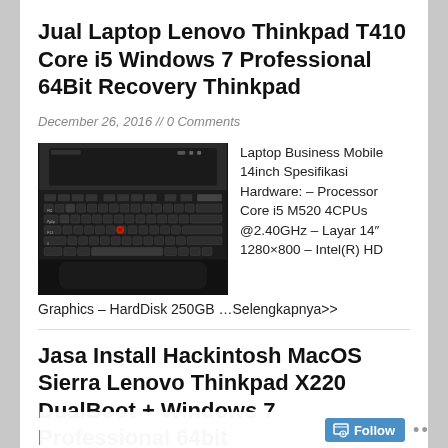Jual Laptop Lenovo Thinkpad T410 Core i5 Windows 7 Professional 64Bit Recovery Thinkpad
December 26, 2016 // 0 Comments
[Figure (photo): Photo of a Lenovo Thinkpad laptop keyboard, black keyboard close-up view from above]
Laptop Business Mobile 14inch Spesifikasi Hardware: – Processor Core i5 M520 4CPUs @2.40GHz – Layar 14″ 1280×800 – Intel(R) HD Graphics – HardDisk 250GB …Selengkapnya>>
Jasa Install Hackintosh MacOS Sierra Lenovo Thinkpad X220 DualBoot + Windows 7 Professional 64bit RecoveryThinkpad